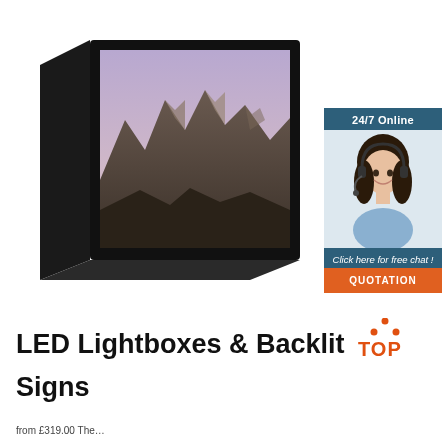[Figure (photo): LED lightbox display unit shown at an angle with a mountain landscape image on screen, black frame with depth/thickness visible]
[Figure (infographic): 24/7 Online chat widget showing a customer service woman wearing a headset, with 'Click here for free chat!' text and an orange QUOTATION button]
LED Lightboxes & Backlit Signs
[Figure (logo): TOP logo with orange dots arranged in triangle above the word TOP in orange]
from £319.00 The …